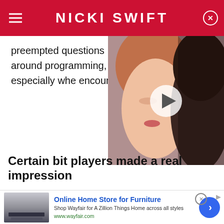NICKI SWIFT
preempted questions around programming, especially whe encounters.
[Figure (photo): Video thumbnail showing a couple — a woman with red hair and a man — appearing to kiss or embrace closely, with a white play button overlay in the center.]
Certain bit players made a real impression
[Figure (infographic): Advertisement banner for Wayfair online home store for furniture, showing product image on the left, ad text in the center, and a blue circular arrow button on the right.]